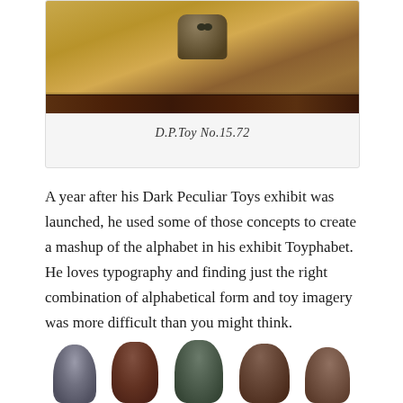[Figure (photo): Top portion of a framed artwork or photograph showing a Dark Peculiar Toys exhibit piece with warm golden-brown tones, featuring what appears to be a carved or sculpted toy object against a textured background with a dark horizontal band at the bottom.]
D.P.Toy No.15.72
A year after his Dark Peculiar Toys exhibit was launched, he used some of those concepts to create a mashup of the alphabet in his exhibit Toyphabet. He loves typography and finding just the right combination of alphabetical form and toy imagery was more difficult than you might think.
[Figure (photo): Bottom row of five toy figurines or sculpted pieces partially visible at the bottom edge of the page, each with dark muted colors in browns, grays, and greens.]